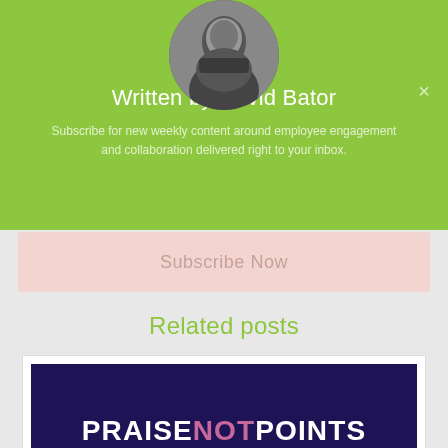[Figure (photo): Circular profile photo of David Bator in black and white, showing a man in a suit]
Written by David Bator
Subscribe for new weekly content around employee engagement and collaboration delivered right to your inbox.
Subscribe Now
Related posts
[Figure (illustration): Dark navy/purple background image with large bold text reading PRAISE NOT POINTS, where NOT is highlighted in pink/magenta]